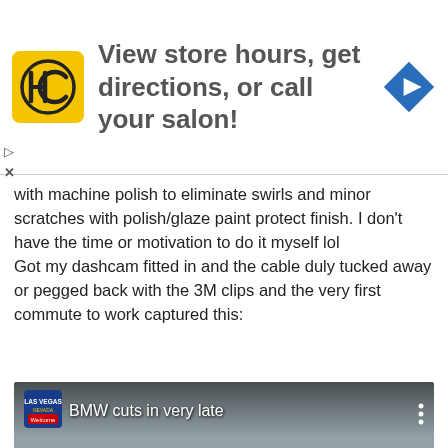[Figure (infographic): Advertisement banner for a salon directory: HC logo on yellow square, text 'View store hours, get directions, or call your salon!', blue diamond navigation arrow icon. Small play/close controls below left.]
with machine polish to eliminate swirls and minor scratches with polish/glaze paint protect finish. I don't have the time or motivation to do it myself lol
Got my dashcam fitted in and the cable duly tucked away or pegged back with the 3M clips and the very first commute to work captured this:
[Figure (screenshot): YouTube video thumbnail embed titled 'BMW cuts in very late'. Shows dashcam footage from a car on a motorway with a silver BMW cutting in. Las Vegas channel icon top left. Speedometer visible at bottom center showing approx 80mph. Timestamp 2008/05/12 14:52:39 bottom right. Red YouTube play button in center.]